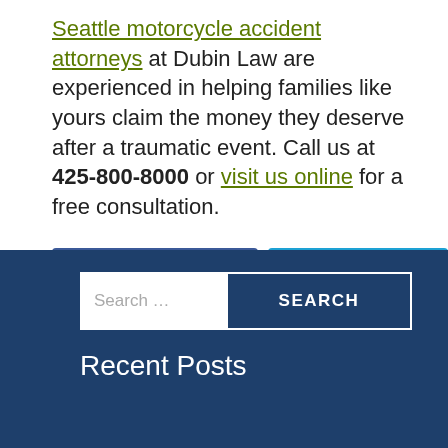Seattle motorcycle accident attorneys at Dubin Law are experienced in helping families like yours claim the money they deserve after a traumatic event. Call us at 425-800-8000 or visit us online for a free consultation.
[Figure (infographic): Social media sharing buttons: Facebook (blue), Twitter (light blue), LinkedIn (blue)]
[Figure (infographic): Dark blue sidebar with a search box (placeholder 'Search ...') and a SEARCH button, followed by 'Recent Posts' heading in white text]